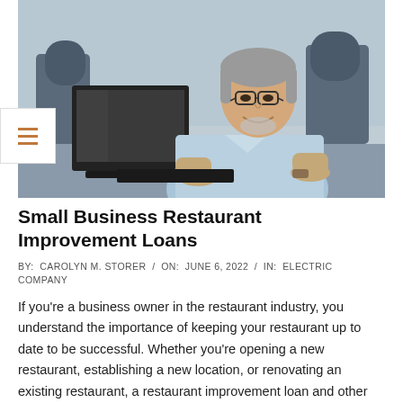[Figure (photo): A middle-aged Asian man with glasses and grey hair wearing a light blue button-up shirt, sitting at a desk and typing on a laptop in an office environment with chairs visible in the background.]
Small Business Restaurant Improvement Loans
BY:  CAROLYN M. STORER  /  ON:  JUNE 6, 2022  /  IN:  ELECTRIC COMPANY
If you're a business owner in the restaurant industry, you understand the importance of keeping your restaurant up to date to be successful. Whether you're opening a new restaurant, establishing a new location, or renovating an existing restaurant, a restaurant improvement loan and other financing options can help. Some financing